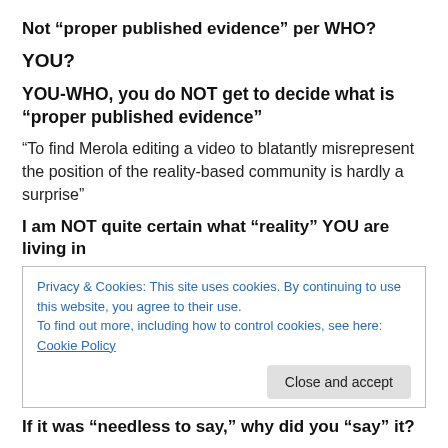Not “proper published evidence” per WHO?
YOU?
YOU-WHO, you do NOT get to decide what is “proper published evidence”
“To find Merola editing a video to blatantly misrepresent the position of the reality-based community is hardly a surprise”
I am NOT quite certain what “reality” YOU are living in
Privacy & Cookies: This site uses cookies. By continuing to use this website, you agree to their use.
To find out more, including how to control cookies, see here: Cookie Policy
If it was “needless to say,” why did you “say” it?